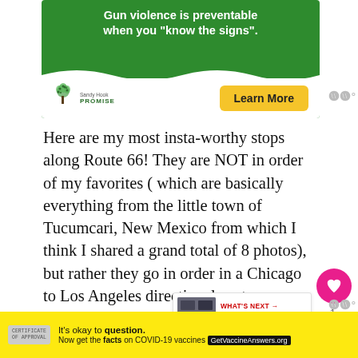[Figure (screenshot): Sandy Hook Promise advertisement with green background, white bold text 'Gun violence is preventable when you "know the signs".', Sandy Hook Promise logo with tree, and a yellow 'Learn More' button.]
Here are my most insta-worthy stops along Route 66! They are NOT in order of my favorites ( which are basically everything from the little town of Tucumcari, New Mexico from which I think I shared a grand total of 8 photos), but rather they go in order in a Chicago to Los Angeles directional route.
Various Muffler Men
[Figure (screenshot): Yellow advertisement banner: 'It's okay to question. Now get the facts on COVID-19 vaccines GetVaccineAnswers.org' with a stamp graphic and close button.]